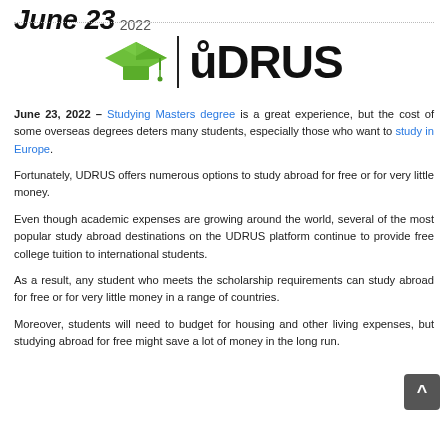June 23  2022
[Figure (logo): UDRUS logo with green graduation cap icon and bold UDRUS text]
June 23, 2022 – Studying Masters degree is a great experience, but the cost of some overseas degrees deters many students, especially those who want to study in Europe.
Fortunately, UDRUS offers numerous options to study abroad for free or for very little money.
Even though academic expenses are growing around the world, several of the most popular study abroad destinations on the UDRUS platform continue to provide free college tuition to international students.
As a result, any student who meets the scholarship requirements can study abroad for free or for very little money in a range of countries.
Moreover, students will need to budget for housing and other living expenses, but studying abroad for free might save a lot of money in the long run.